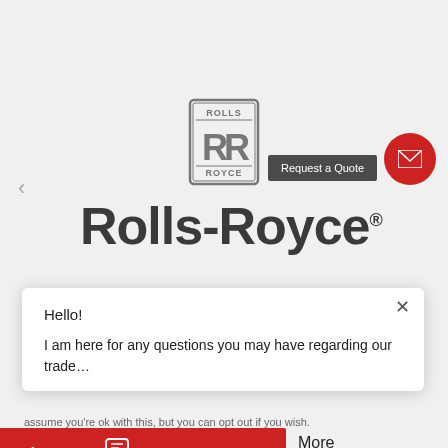[Figure (logo): Rolls-Royce badge logo (RR monogram in rectangular frame with ROLLS top and ROYCE bottom)]
[Figure (other): Request a Quote dark grey button]
[Figure (other): Red circular email/envelope button]
Rolls-Royce®
Hello!

I am here for any questions you may have regarding our trade...
assume you're ok with this, but you can opt out if you wish.
Chat now
More